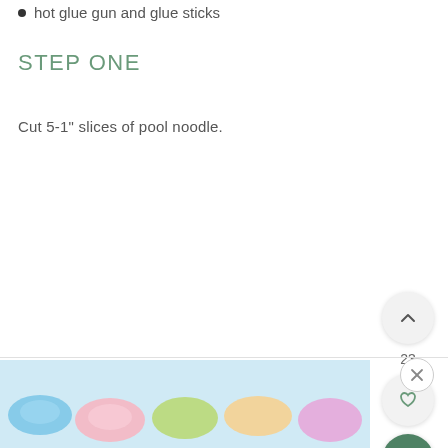hot glue gun and glue sticks
STEP ONE
Cut 5-1" slices of pool noodle.
[Figure (screenshot): UI overlay buttons: upward chevron button, count label '23', heart/favorite button, and green search button]
[Figure (photo): Colorful pool noodle slices visible at bottom of page, with a close (X) button overlay]